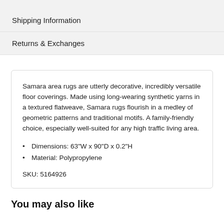Shipping Information
Returns & Exchanges
Samara area rugs are utterly decorative, incredibly versatile floor coverings. Made using long-wearing synthetic yarns in a textured flatweave, Samara rugs flourish in a medley of geometric patterns and traditional motifs. A family-friendly choice, especially well-suited for any high traffic living area.
Dimensions: 63"W x 90"D x 0.2"H
Material: Polypropylene
SKU: 5164926
You may also like